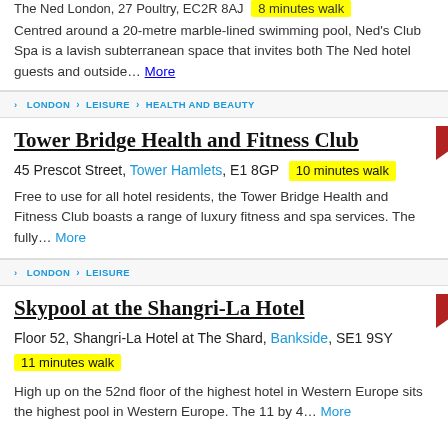The Ned London, 27 Poultry, EC2R 8AJ  8 minutes walk
Centred around a 20-metre marble-lined swimming pool, Ned's Club Spa is a lavish subterranean space that invites both The Ned hotel guests and outside... More
> LONDON > LEISURE > HEALTH AND BEAUTY
Tower Bridge Health and Fitness Club
45 Prescot Street, Tower Hamlets, E1 8GP  10 minutes walk
Free to use for all hotel residents, the Tower Bridge Health and Fitness Club boasts a range of luxury fitness and spa services. The fully... More
> LONDON > LEISURE
Skypool at the Shangri-La Hotel
Floor 52, Shangri-La Hotel at The Shard, Bankside, SE1 9SY  11 minutes walk
High up on the 52nd floor of the highest hotel in Western Europe sits the highest pool in Western Europe. The 11 by 4... More